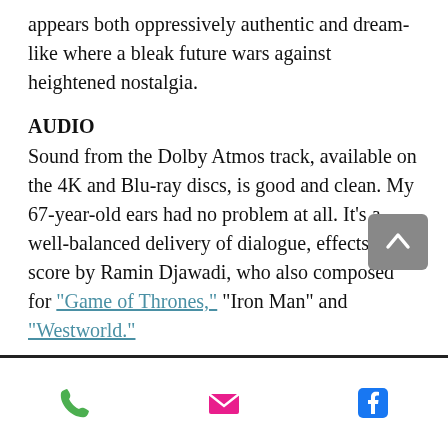appears both oppressively authentic and dream-like where a bleak future wars against heightened nostalgia.
AUDIO
Sound from the Dolby Atmos track, available on the 4K and Blu-ray discs, is good and clean. My 67-year-old ears had no problem at all. It's a well-balanced delivery of dialogue, effects, and score by Ramin Djawadi, who also composed for "Game of Thrones," "Iron Man" and "Westworld."